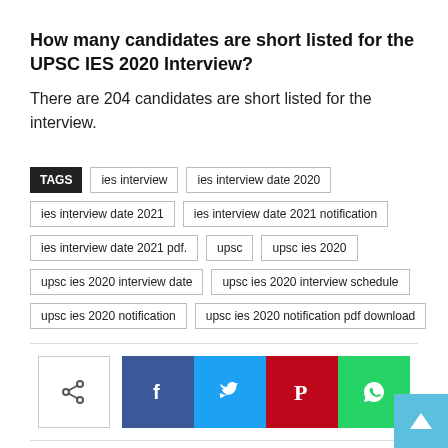How many candidates are short listed for the UPSC IES 2020 Interview?
There are 204 candidates are short listed for the interview.
TAGS: ies interview, ies interview date 2020, ies interview date 2021, ies interview date 2021 notification, ies interview date 2021 pdf., upsc, upsc ies 2020, upsc ies 2020 interview date, upsc ies 2020 interview schedule, upsc ies 2020 notification, upsc ies 2020 notification pdf download
[Figure (infographic): Social share buttons: share icon (outline), Facebook (blue), Twitter (light blue), Pinterest (red), WhatsApp (green)]